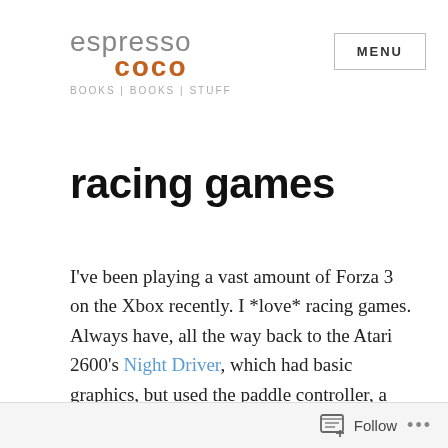espresso coco BOOKS | BOOKS | STUFF
racing games
I've been playing a vast amount of Forza 3 on the Xbox recently. I *love* racing games. Always have, all the way back to the Atari 2600's Night Driver, which had basic graphics, but used the paddle controller, a kind of proto-steering wheel affair.
Follow ...